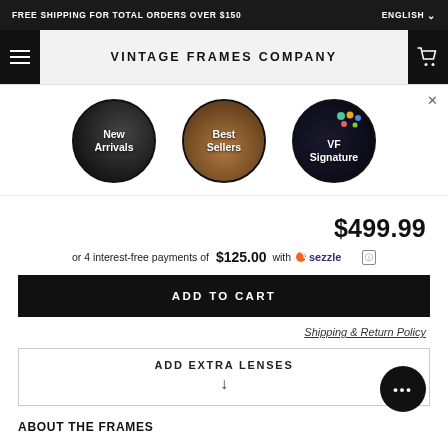FREE SHIPPING FOR TOTAL ORDERS OVER $150
VINTAGE FRAMES COMPANY
[Figure (illustration): Three circular navigation buttons: New Arrivals (dark background with person), Best Sellers (brown/amber background), VF Signature (dark with colorful dots)]
$499.99
or 4 interest-free payments of $125.00 with Sezzle
ADD TO CART
Shipping & Return Policy
ADD EXTRA LENSES
ABOUT THE FRAMES